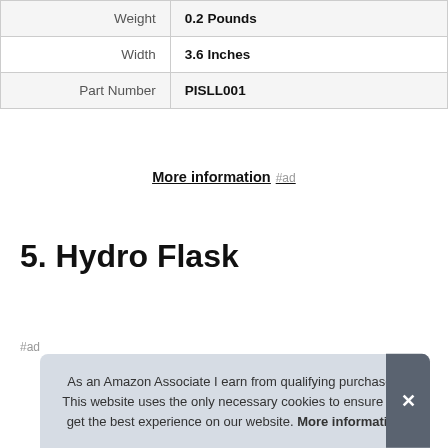| Weight | 0.2 Pounds |
| Width | 3.6 Inches |
| Part Number | PISLL001 |
More information #ad
5. Hydro Flask
#ad
As an Amazon Associate I earn from qualifying purchases. This website uses the only necessary cookies to ensure you get the best experience on our website. More information